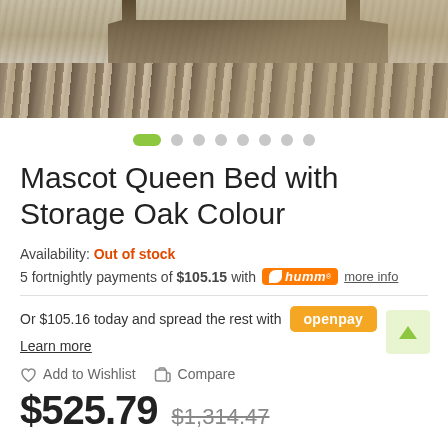[Figure (photo): Product photo of a Mascot Queen Bed with Storage Oak Colour showing furniture legs and a striped rug on a light floor.]
Mascot Queen Bed with Storage Oak Colour
Availability: Out of stock
5 fortnightly payments of $105.15 with humm more info
Or $105.16 today and spread the rest with openpay
Learn more
Add to Wishlist   Compare
$525.79  $1,314.47